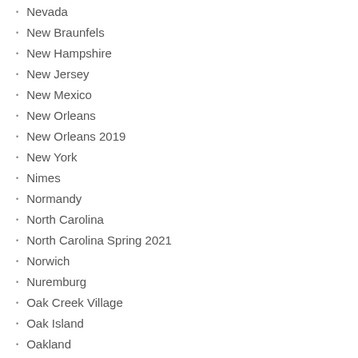Nevada
New Braunfels
New Hampshire
New Jersey
New Mexico
New Orleans
New Orleans 2019
New York
Nimes
Normandy
North Carolina
North Carolina Spring 2021
Norwich
Nuremburg
Oak Creek Village
Oak Island
Oakland